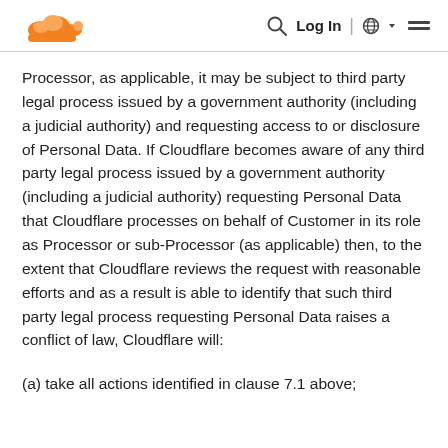Cloudflare logo | Search | Log In | Globe | Menu
Processor, as applicable, it may be subject to third party legal process issued by a government authority (including a judicial authority) and requesting access to or disclosure of Personal Data. If Cloudflare becomes aware of any third party legal process issued by a government authority (including a judicial authority) requesting Personal Data that Cloudflare processes on behalf of Customer in its role as Processor or sub-Processor (as applicable) then, to the extent that Cloudflare reviews the request with reasonable efforts and as a result is able to identify that such third party legal process requesting Personal Data raises a conflict of law, Cloudflare will:
(a) take all actions identified in clause 7.1 above;